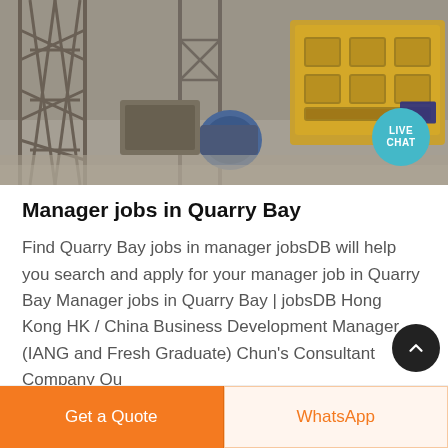[Figure (photo): Aerial or close-up view of industrial quarry machinery and equipment including yellow crushing equipment, steel framework structures, and a blue motor/pump, covered in gray dust]
Manager jobs in Quarry Bay
Find Quarry Bay jobs in manager jobsDB will help you search and apply for your manager job in Quarry Bay Manager jobs in Quarry Bay | jobsDB Hong Kong HK / China Business Development Manager (IANG and Fresh Graduate) Chun's Consultant Company Qu
Get a Quote
WhatsApp